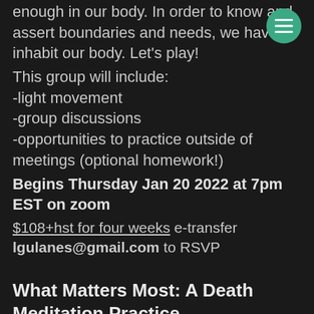enough in our body. In order to know and assert boundaries and needs, we have to inhabit our body. Let's play!
This group will include:
-light movement
-group discussions
-opportunities to practice outside of meetings (optional homework!)
Begins Thursday Jan 20 2022 at 7pm EST on zoom
$108+hst for four weeks e-transfer lgulanes@gmail.com to RSVP
What Matters Most: A Death Meditation Practice